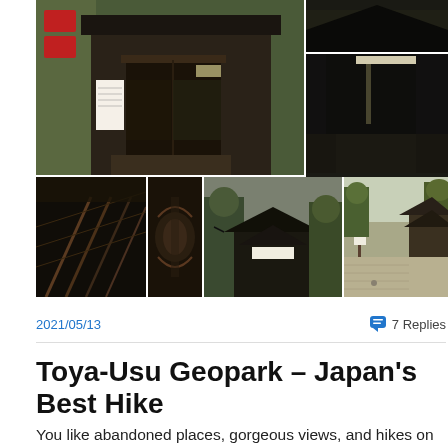[Figure (photo): Photo collage of a Japanese temple/shrine complex: large main image showing wooden temple entrance with signage, small top-right image of dark interior, bottom-right dark interior image, and a bottom row of four smaller images showing wooden staircase interior, carved wooden detail, exterior temple building with trees, and temple courtyard with sand garden]
2021/05/13
7 Replies
Toya-Usu Geopark – Japan's Best Hike
You like abandoned places, gorgeous views, and hikes on beginner level? Then Hokkaido's Toya-Usu Geopark is